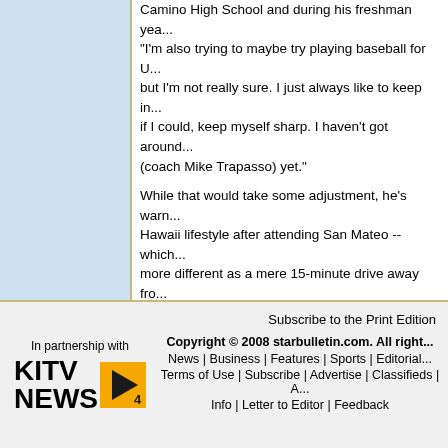[Figure (other): Light blue sidebar panel on the left side of the page]
Camino High School and during his freshman yea... "I'm also trying to maybe try playing baseball for U... but I'm not really sure. I just always like to keep in... if I could, keep myself sharp. I haven't got around... (coach Mike Trapasso) yet."

While that would take some adjustment, he's warn... Hawaii lifestyle after attending San Mateo -- which... more different as a mere 15-minute drive away fro... Francisco.

"(Hawaii's) a little different," Roberts said. "I don't l... friends and my family, over here I meet my new fri... from all over the country. I think it's a good deal fo... I'm here."
BACK TO TOP
© Honolulu Star-Bulletin -- http://archives.starbull...
Subscribe to the Print Edition
[Figure (logo): KITV 4 News logo - In partnership with KITV NEWS 4]
Copyright © 2008 starbulletin.com. All right...
News | Business | Features | Sports | Editorial...
Terms of Use | Subscribe | Advertise | Classifieds | A...
Info | Letter to Editor | Feedback